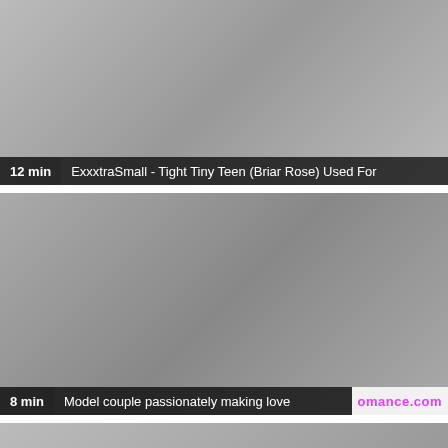[Figure (photo): Video thumbnail showing two people in an intimate scene, indoor setting with blinds in background]
12 min  ExxxtraSmall - Tight Tiny Teen (Briar Rose) Used For
[Figure (photo): Video thumbnail showing a woman lying on a bed and a man in a blue shirt beside her, bookshelf in background]
8 min  Model couple passionately making love  omance.com
[Figure (photo): Partially visible video thumbnail at bottom of page]